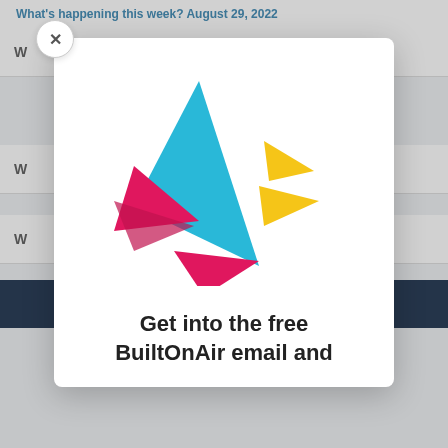What's happening this week? August 29, 2022
[Figure (logo): BuiltOnAir origami bird logo made of colorful geometric tangram shapes — cyan/teal triangle body, magenta/pink triangles for head and tail, yellow triangles for wing tips]
Get into the free BuiltOnAir email and